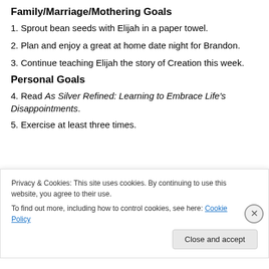Family/Marriage/Mothering Goals
1. Sprout bean seeds with Elijah in a paper towel.
2. Plan and enjoy a great at home date night for Brandon.
3. Continue teaching Elijah the story of Creation this week.
Personal Goals
4. Read As Silver Refined: Learning to Embrace Life’s Disappointments.
5. Exercise at least three times.
Privacy & Cookies: This site uses cookies. By continuing to use this website, you agree to their use. To find out more, including how to control cookies, see here: Cookie Policy
Close and accept